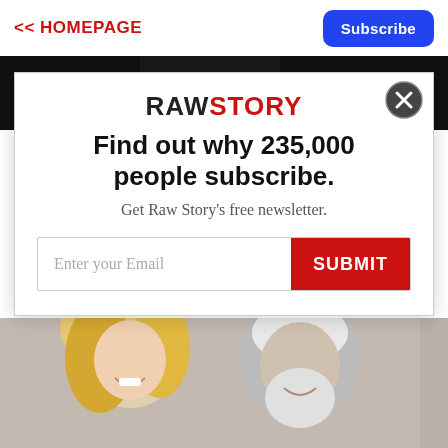<< HOMEPAGE
Subscribe
[Figure (screenshot): Background photo strip showing a person with a red YouTube play button icon on a dark background]
RAWSTORY
Find out why 235,000 people subscribe.
Get Raw Story's free newsletter.
Enter your Email  SUBMIT
[Figure (photo): Photo of a blonde woman and older man with white beard smiling]